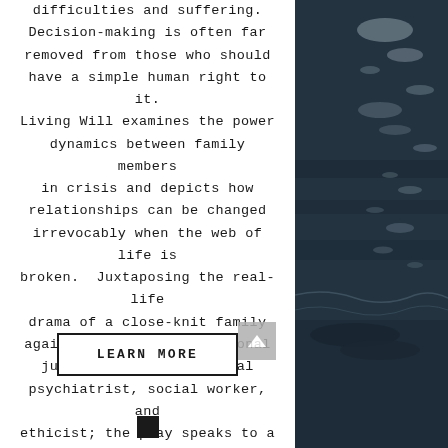difficulties and suffering. Decision-making is often far removed from those who should have a simple human right to it. Living Will examines the power dynamics between family members in crisis and depicts how relationships can be changed irrevocably when the web of life is broken. Juxtaposing the real-life drama of a close-knit family against the cool professional judgments of the hospital psychiatrist, social worker, and ethicist; the play speaks to a contemporary theme through the lens of a traditional family.
[Figure (photo): Dark ocean water with light reflections, occupying the right portion of the page]
LEARN MORE